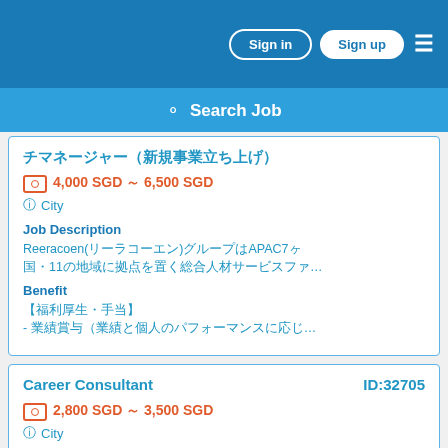Sign in  Sign up  ☰
Search Job
チマネージャー（新規事業立ち上げ）
4,000 SGD ～ 6,500 SGD
City
Job Description
Reeracoen(リーラコーエン)グループはAPAC7ヶ国・11の地域に拠点を置く総合人材サービスファ…
Benefit
【福利厚生・手当】
- 業績賞与（業績と個人のパフォーマンスに応じ…
Career Consultant  ID:32705
2,800 SGD ～ 3,500 SGD
City
Job Description